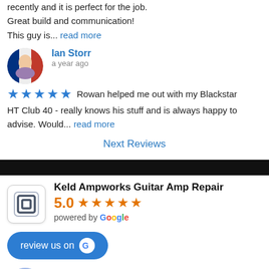recently and it is perfect for the job.
Great build and communication!
This guy is... read more
Ian Storr
a year ago
Rowan helped me out with my Blackstar HT Club 40 - really knows his stuff and is always happy to advise. Would... read more
Next Reviews
[Figure (logo): Keld Ampworks logo - square icon with nested square border design]
Keld Ampworks Guitar Amp Repair
5.0 (5 stars)
powered by Google
review us on Google
Dave Greep
6 years ago
Rowan repaired my vintage HH combo amp